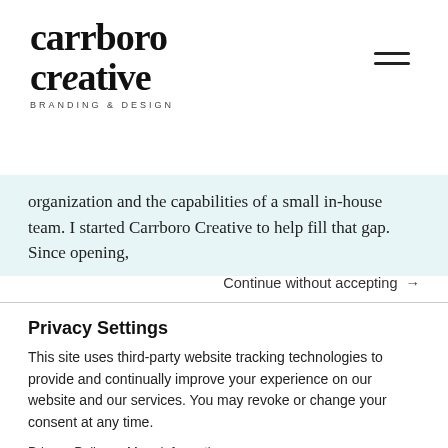[Figure (logo): Carrboro Creative branding and design logo in serif bold black font]
organization and the capabilities of a small in-house team. I started Carrboro Creative to help fill that gap. Since opening,
Continue without accepting →
Privacy Settings
This site uses third-party website tracking technologies to provide and continually improve your experience on our website and our services. You may revoke or change your consent at any time.
Privacy Policy   More Information
Accept All
Deny
Powered by Usercentrics Consent Management